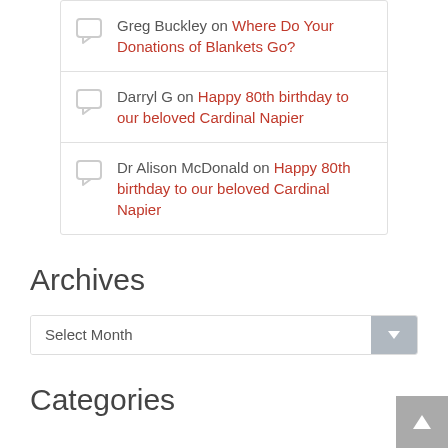Greg Buckley on Where Do Your Donations of Blankets Go?
Darryl G on Happy 80th birthday to our beloved Cardinal Napier
Dr Alison McDonald on Happy 80th birthday to our beloved Cardinal Napier
Archives
Select Month
Categories